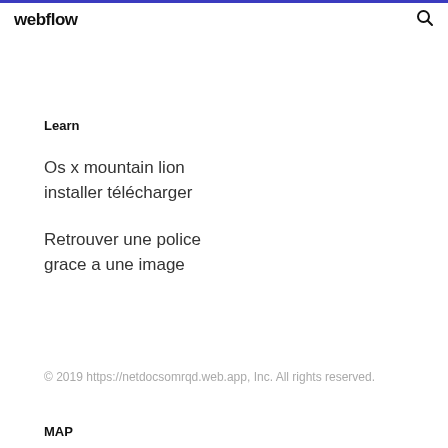webflow
Learn
Os x mountain lion installer télécharger
Retrouver une police grace a une image
© 2019 https://netdocsomrqd.web.app, Inc. All rights reserved.
MAP